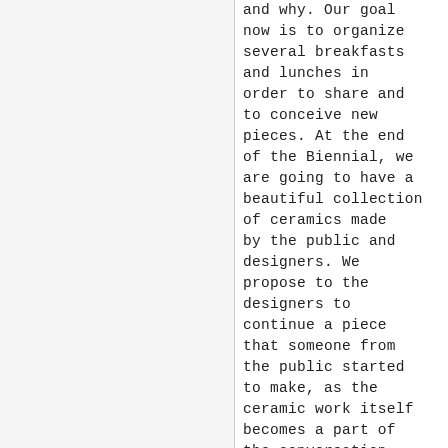and why. Our goal now is to organize several breakfasts and lunches in order to share and to conceive new pieces. At the end of the Biennial, we are going to have a beautiful collection of ceramics made by the public and designers. We propose to the designers to continue a piece that someone from the public started to make, as the ceramic work itself becomes a part of the conversation over the table. We